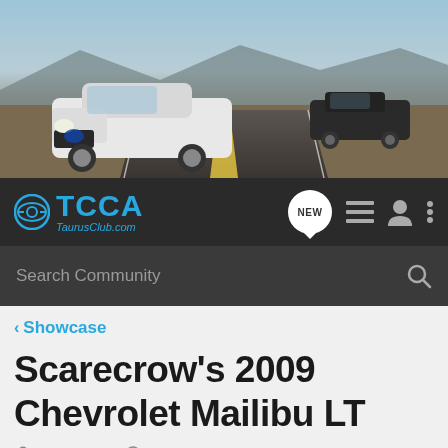[Figure (photo): Hero image of a white Ford Taurus police/sport car driving on a desert highway, with a dark sedan in the background.]
[Figure (logo): TCCA TaurusClub.com logo with blue steering wheel icon and blue text on dark navigation bar.]
Search Community
< Showcase
Scarecrow's 2009 Chevrolet Mailibu LT
Scarecrow · Nov 29, 2016 · Updated Aug 27, 2019
+ Follow